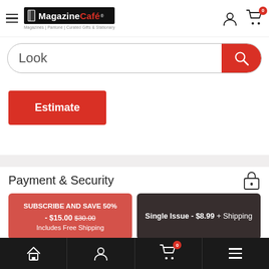[Figure (screenshot): Magazine Café website header with hamburger menu, logo, user icon, and cart icon with badge showing 0]
Look
Estimate
Payment & Security
SUBSCRIBE AND SAVE 50% - $15.00 $30.00 Includes Free Shipping
Single Issue - $8.99 + Shipping
[Figure (screenshot): Bottom navigation bar with home, user, cart (badge 0), and menu icons]